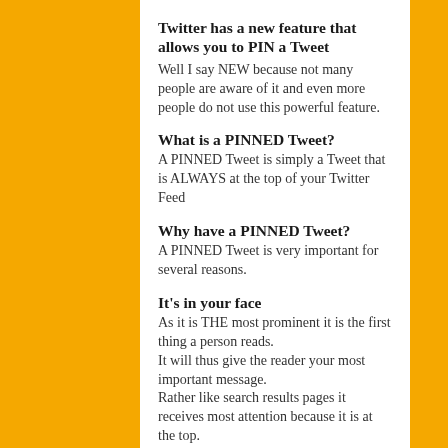Twitter has a new feature that allows you to PIN a Tweet
Well I say NEW because not many people are aware of it and even more people do not use this powerful feature.
What is a PINNED Tweet?
A PINNED Tweet is simply a Tweet that is ALWAYS at the top of your Twitter Feed
Why have a PINNED Tweet?
A PINNED Tweet is very important for several reasons.
It's in your face
As it is THE most prominent it is the first thing a person reads.
It will thus give the reader your most important message.
Rather like search results pages it receives most attention because it is at the top.
What to put in a PINNED Tweet?
Your PINNED Tweet can contain many